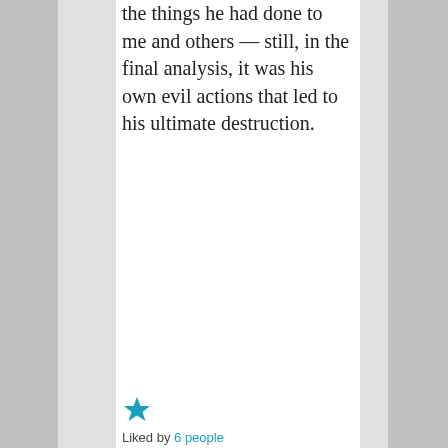the things he had done to me and others — still, in the final analysis, it was his own evil actions that led to his ultimate destruction.
[Figure (other): Blue star rating icon]
Liked by 6 people
[Figure (screenshot): User popup showing luckyotter on April 12, 2015 at 6:37]
Advertisements
[Figure (other): Bloomingdale's advertisement: View Today's Top Deals! SHOP NOW >]